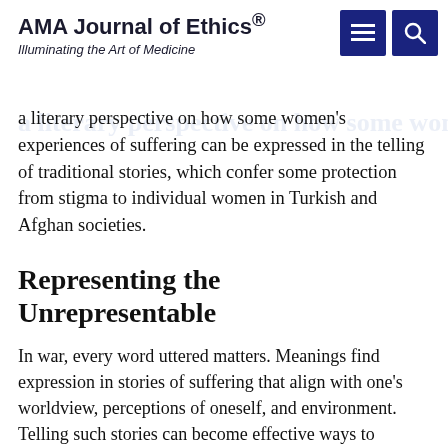AMA Journal of Ethics® — Illuminating the Art of Medicine
a literary perspective on how some women's experiences of suffering can be expressed in the telling of traditional stories, which confer some protection from stigma to individual women in Turkish and Afghan societies.
Representing the Unrepresentable
In war, every word uttered matters. Meanings find expression in stories of suffering that align with one's worldview, perceptions of oneself, and environment. Telling such stories can become effective ways to channel trauma and create landscapes of resistance.¹ Storytelling by